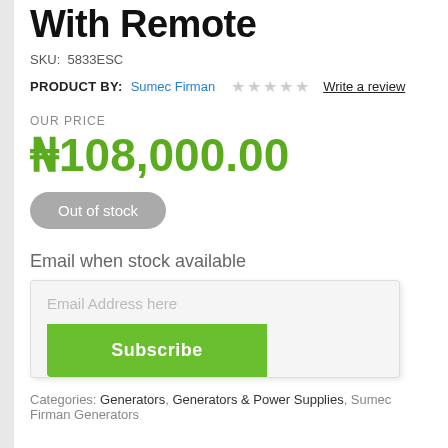With Remote
SKU: 5833ESC
PRODUCT BY: Sumec Firman   ☆☆☆☆☆   Write a review
OUR PRICE
₦108,000.00
Out of stock
Email when stock available
Email Address here
Subscribe
Categories: Generators, Generators & Power Supplies, Sumec Firman Generators